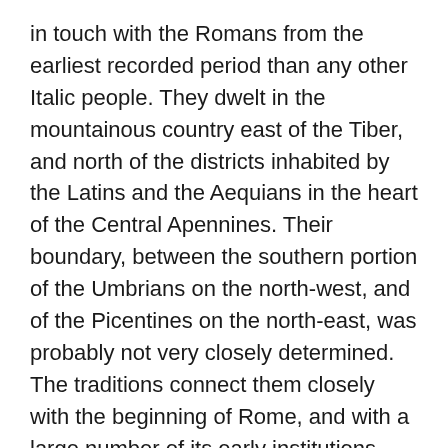in touch with the Romans from the earliest recorded period than any other Italic people. They dwelt in the mountainous country east of the Tiber, and north of the districts inhabited by the Latins and the Aequians in the heart of the Central Apennines. Their boundary, between the southern portion of the Umbrians on the north-west, and of the Picentines on the north-east, was probably not very closely determined. The traditions connect them closely with the beginning of Rome, and with a large number of its early institutions, such as the worship of Jupiter, Mars and Quirinus, and the patrician form of marriage (confarreatio).
Of their language as distinct from that of the Latins no articulate memorial has survived, but we have a large number of single words attributed to them by Latin writers, among which such forms as (1) fircus, Lat. hircus; (2)